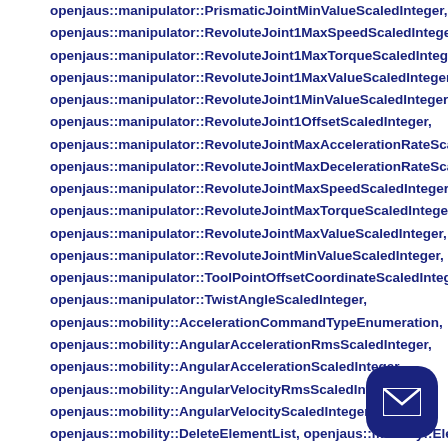openjaus::manipulator::PrismaticJointMinValueScaledInteger,
openjaus::manipulator::RevoluteJoint1MaxSpeedScaledInteger,
openjaus::manipulator::RevoluteJoint1MaxTorqueScaledInteger,
openjaus::manipulator::RevoluteJoint1MaxValueScaledInteger,
openjaus::manipulator::RevoluteJoint1MinValueScaledInteger,
openjaus::manipulator::RevoluteJoint1OffsetScaledInteger,
openjaus::manipulator::RevoluteJointMaxAccelerationRateScaledInteger,
openjaus::manipulator::RevoluteJointMaxDecelerationRateScaledInteger,
openjaus::manipulator::RevoluteJointMaxSpeedScaledInteger,
openjaus::manipulator::RevoluteJointMaxTorqueScaledInteger,
openjaus::manipulator::RevoluteJointMaxValueScaledInteger,
openjaus::manipulator::RevoluteJointMinValueScaledInteger,
openjaus::manipulator::ToolPointOffsetCoordinateScaledInteger,
openjaus::manipulator::TwistAngleScaledInteger,
openjaus::mobility::AccelerationCommandTypeEnumeration,
openjaus::mobility::AngularAccelerationRmsScaledInteger,
openjaus::mobility::AngularAccelerationScaledInteger,
openjaus::mobility::AngularVelocityRmsScaledInteger,
openjaus::mobility::AngularVelocityScaledInteger,
openjaus::mobility::DeleteElementList, openjaus::mobility::ElementList,